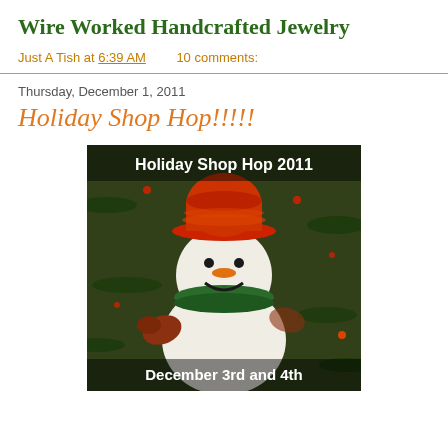Wire Worked Handcrafted Jewelry
Just A Tish at 6:39 AM    10 comments:
Thursday, December 1, 2011
Holiday Shop Hop!!!!!
[Figure (photo): A cheerful snowman ornament wearing a red hat and green scarf, posed in front of pine tree branches. Text overlay reads 'Holiday Shop Hop 2011' at the top and 'December 3rd and 4th' at the bottom.]